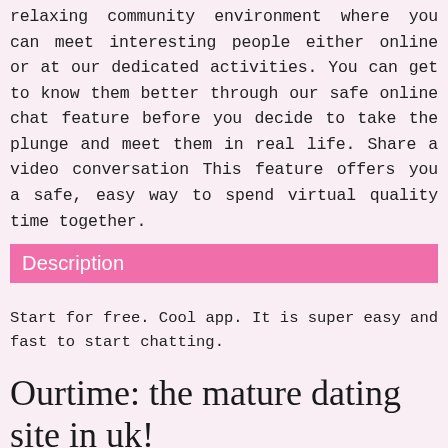relaxing community environment where you can meet interesting people either online or at our dedicated activities. You can get to know them better through our safe online chat feature before you decide to take the plunge and meet them in real life. Share a video conversation This feature offers you a safe, easy way to spend virtual quality time together.
Description
Start for free. Cool app. It is super easy and fast to start chatting.
Ourtime: the mature dating site in uk!